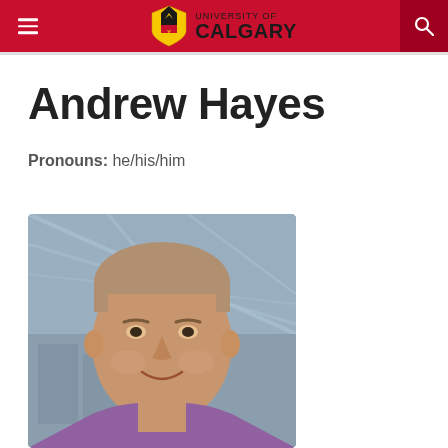University of Calgary
Andrew Hayes
Pronouns: he/his/him
[Figure (photo): Headshot photo of Andrew Hayes, a middle-aged man with light brown/grey hair, smiling, wearing a purple shirt, photographed indoors in front of a glass ceiling structure.]